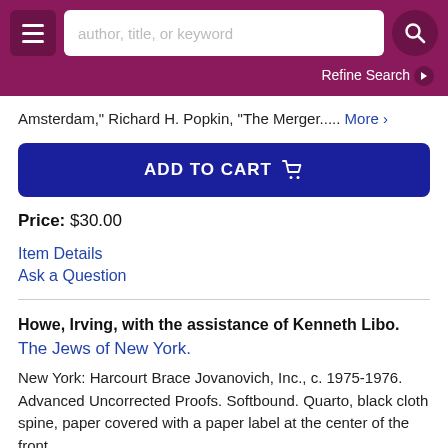[Figure (screenshot): Website header with hamburger menu button, search bar placeholder 'author, title, or keyword', and search button on dark pink/magenta background]
Refine Search ❯
Amsterdam," Richard H. Popkin, "The Merger..... More ›
ADD TO CART 🛒
Price: $30.00
Item Details
Ask a Question
Howe, Irving, with the assistance of Kenneth Libo.
The Jews of New York.
New York: Harcourt Brace Jovanovich, Inc., c. 1975-1976. Advanced Uncorrected Proofs. Softbound. Quarto, black cloth spine, paper covered with a paper label at the center of the front